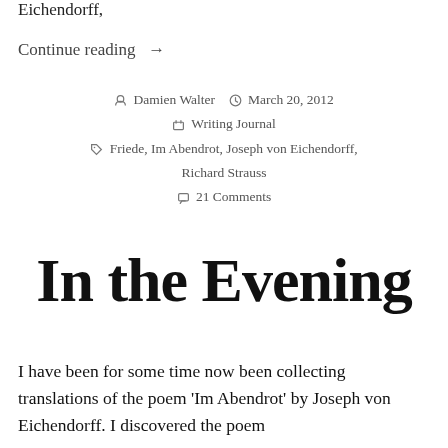Eichendorff,
Continue reading →
Damien Walter  March 20, 2012  Writing Journal  Friede, Im Abendrot, Joseph von Eichendorff, Richard Strauss  21 Comments
In the Evening
I have been for some time now been collecting translations of the poem 'Im Abendrot' by Joseph von Eichendorff. I discovered the poem